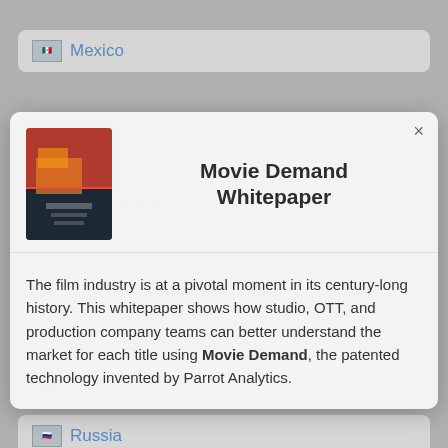Mexico
Netherlands
New Zealand
Movie Demand Whitepaper
The film industry is at a pivotal moment in its century-long history. This whitepaper shows how studio, OTT, and production company teams can better understand the market for each title using Movie Demand, the patented technology invented by Parrot Analytics.
Philippines
Portugal
Russia